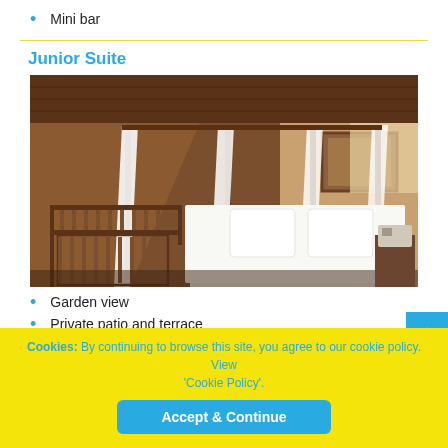Mini bar
Junior Suite
[Figure (photo): Hotel junior suite room with a king-size canopy bed with white drapes, wooden walls and ceiling, wooden railing/balcony area with a crib, and a nightstand with phone.]
Garden view
Private patio and terrace
King-size bed or 2 single beds
Cookies: By continuing to browse this site, you agree to our cookie policy. View 'Cookie Policy'.
Accept & Continue